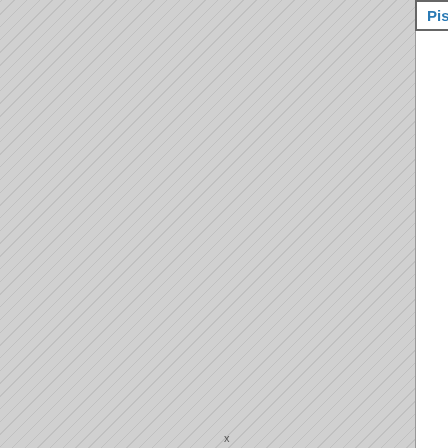| Team | FG% | FT% | 3P% | PTS | ... |
| --- | --- | --- | --- | --- | --- |
| Pistons | 46.9% | 70% | 45.5% | 87 | 26... |
2/14/2000 - Houston Chronicle
Rockets get better of Pistons
2/14/2000 - Houston Chronicle
Thomas torments Pistons
2/14/2000 - Houston Chronicle
Steady progress club's crucial goal
2/14/2000 - Detroit Free Press
Pistons' road woes continue
2/14/2000 - Detroit News Online
Pistons' loss familiar